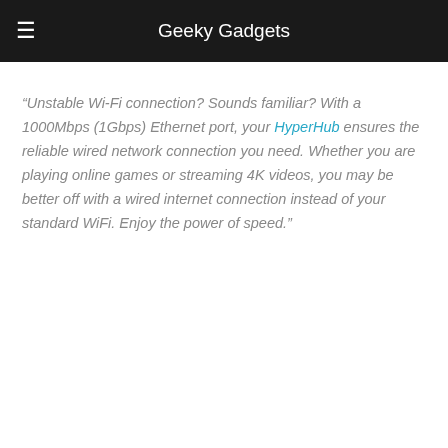Geeky Gadgets
“Unstable Wi-Fi connection? Sounds familiar? With a 1000Mbps (1Gbps) Ethernet port, your HyperHub ensures the reliable wired network connection you need. Whether you are playing online games or streaming 4K videos, you may be better off with a wired internet connection instead of your standard WiFi. Enjoy the power of speed.”